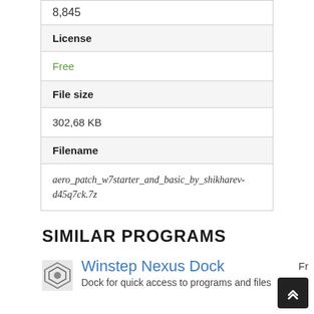| 8,845 |
| License |  |
| Free |
| File size |  |
| 302,68 KB |
| Filename |  |
| aero_patch_w7starter_and_basic_by_shikharev-d45q7ck.7z |
SIMILAR PROGRAMS
Winstep Nexus Dock
Dock for quick access to programs and files